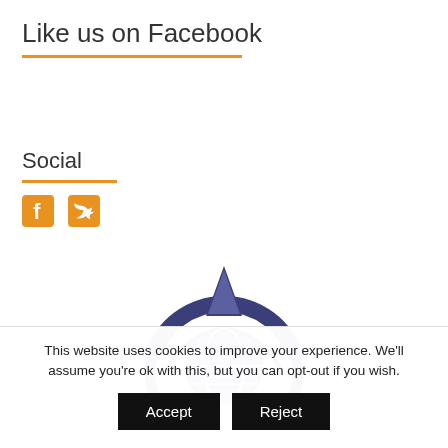Like us on Facebook
Social
[Figure (logo): Facebook and Twitter social media icons in orange]
[Figure (logo): Organization logo: blue circular emblem with a triangle/water drop on top and a figure inside a globe shape]
This website uses cookies to improve your experience. We'll assume you're ok with this, but you can opt-out if you wish.
Accept
Reject